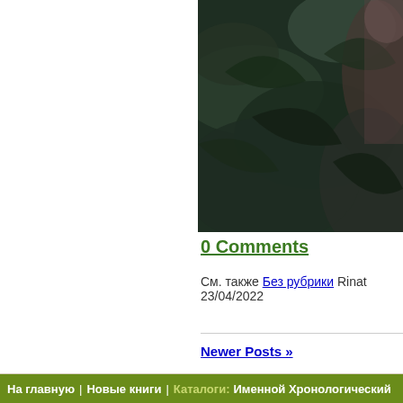[Figure (photo): Dark moody photo of tropical leaves with a partial view of a person, dark green tones]
0 Comments
См. также Без рубрики Rinat 23/04/2022
Newer Posts »
На главную | Новые книги | Каталоги: Именной Хронологический